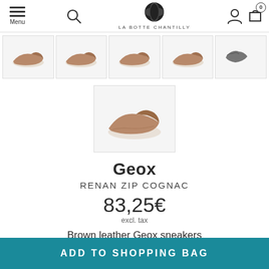Menu | LA BOTTE CHANTILLY
[Figure (photo): Five shoe thumbnail images showing brown leather Geox sneakers from different angles]
[Figure (photo): Main product image: brown leather Geox sneaker viewed from side angle]
Geox
RENAN ZIP COGNAC
83,25€
excl. tax
Brown leather Geox sneakers
👣 How to choose your size
ADD TO SHOPPING BAG